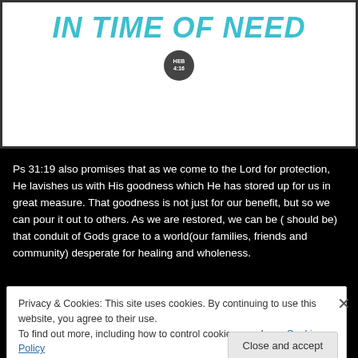[Figure (illustration): Book cover image showing bold teal italic text 'IN TIME OF NEED' with a dark circular badge showing 'HEB 4:16' on a white background with decorative watermark pattern]
Ps 31:19 also promises that as we come to the Lord for protection, He lavishes us with His goodness which He has stored up for us in great measure. That goodness is not just for our benefit, but so we can pour it out to others. As we are restored, we can be ( should be) that conduit of Gods grace to a world(our families, friends and community) desperate for healing and wholeness.
Privacy & Cookies: This site uses cookies. By continuing to use this website, you agree to their use.
To find out more, including how to control cookies, see here: Cookie Policy